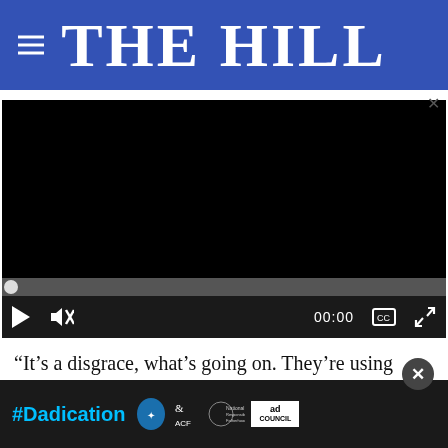THE HILL
[Figure (screenshot): Embedded video player with black screen, progress bar, and controls showing play button, mute icon, 00:00 timestamp, captions and fullscreen icons]
“It’s a disgrace, what’s going on. They’re using these things to try and get people’s minds off ho… incom… …ey don’t…
[Figure (screenshot): #Dadication ad banner with HHS, ACF, National Responsible Fatherhood Clearinghouse, and Ad Council logos on dark background]